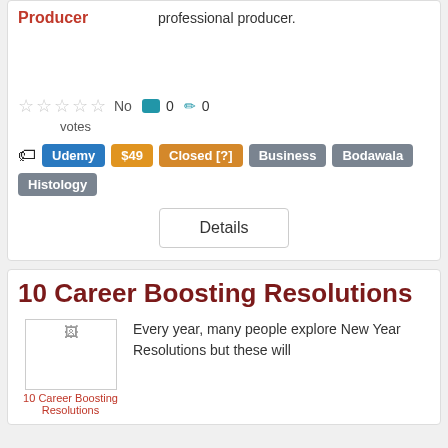Producer
professional producer.
No 0 0
votes
Udemy
$49
Closed [?]
Business
Bodawala
Histology
Details
10 Career Boosting Resolutions
[Figure (photo): 10 Career Boosting Resolutions thumbnail image]
10 Career Boosting Resolutions
Every year, many people explore New Year Resolutions but these will